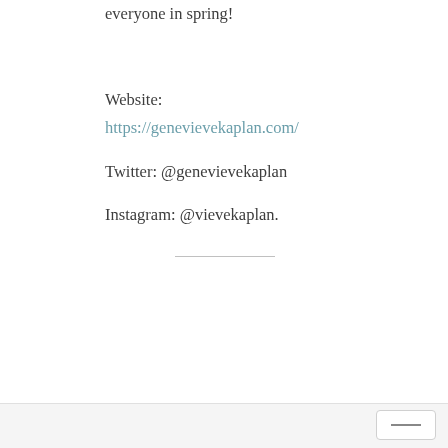everyone in spring!
Website:
https://genevievekaplan.com/
Twitter: @genevievekaplan
Instagram: @vievekaplan.